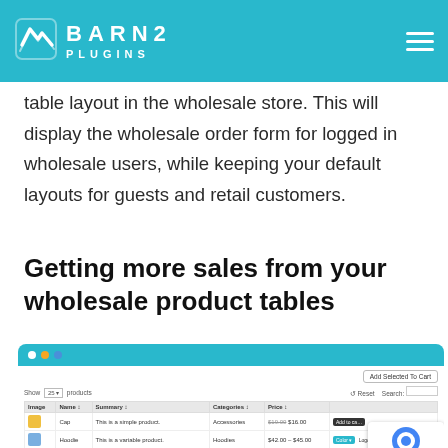BARN2 PLUGINS
table layout in the wholesale store. This will display the wholesale order form for logged in wholesale users, while keeping your default layouts for guests and retail customers.
Getting more sales from your wholesale product tables
[Figure (screenshot): Browser window mockup showing a WooCommerce wholesale product table with columns for Image, Name, Summary, Categories, Price and an Add to Cart button. Rows show Cap, Hoodie, and Single products.]